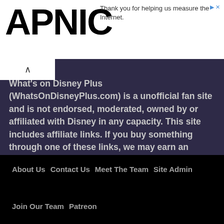APNIC
Thank you for helping us measure the Internet.
What's on Disney Plus (WhatsOnDisneyPlus.com) is a unofficial fan site and is not endorsed, moderated, owned by or affiliated with Disney in any capacity. This site includes affiliate links. If you buy something through one of these links, we may earn an affiliate commission.
About Us   Contact Us   Meet The Team   Site Admin
Join Our Team   Patreon